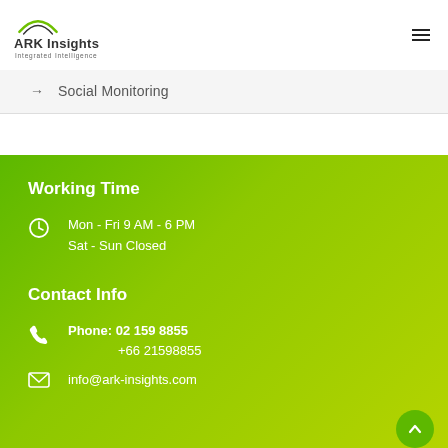[Figure (logo): ARK Insights Integrated Intelligence logo with green arc above company name]
→ Social Monitoring
Working Time
Mon - Fri 9 AM - 6 PM
Sat - Sun Closed
Contact Info
Phone:  02 159 8855
+66 21598855
info@ark-insights.com